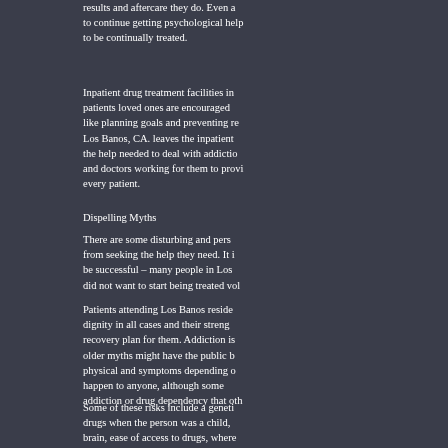results and aftercare they do. Even a to continue getting psychological help to be continually treated.
Inpatient drug treatment facilities in patients loved ones are encouraged like planning goals and preventing re Los Banos, CA. leaves the inpatient the help needed to deal with addictio and doctors working for them to provi every patient.
Dispelling Myths
There are some disturbing and pers from seeking the help they need. It i be successful – many people in Los did not want to start being treated vol
Patients attending Los Banos reside dignity in all cases and their streng recovery plan for them. Addiction is older myths might have the public b physical and symptoms depending o happen to anyone, although some addiction or drug dependency that oth
Some of these risks include a geneti drugs when the person was a child, brain, ease of access to drugs, where status, among many others.
Outpatient Drug Rehab,
What Is Drug Addiction?
A person in Los Banos might be c through the day or when drugs are